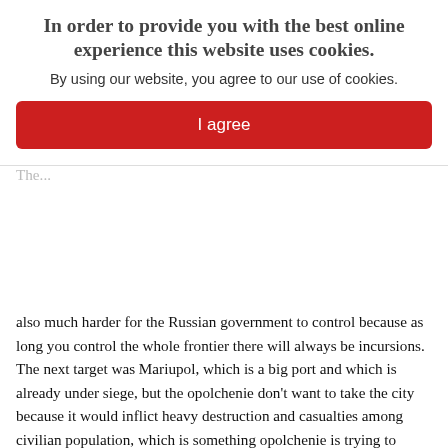and it's a crushing moral defeat – it would be a total moral...
In order to provide you with the best online experience this website uses cookies.
By using our website, you agree to our use of cookies.
I agree
The...
also much harder for the Russian government to control because as long you control the whole frontier there will always be incursions. The next target was Mariupol, which is a big port and which is already under siege, but the opolchenie don't want to take the city because it would inflict heavy destruction and casualties among civilian population, which is something opolchenie is trying to avoid.
Back in April there was mass support for Donetsk in Mariupol, but there is growing scepticism amongst people because of the chaotic leadership in Donetsk. Nevertheless the insurgents were trying to convince Ukrainian troops to leave the city. Once they secure Mariupol – or even before that – they will move to Berdyansk, which is another important city, and which